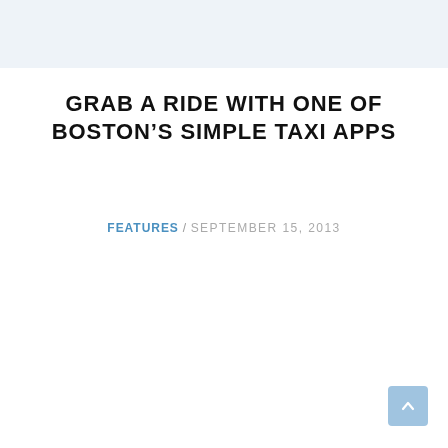GRAB A RIDE WITH ONE OF BOSTON’S SIMPLE TAXI APPS
FEATURES / SEPTEMBER 15, 2013